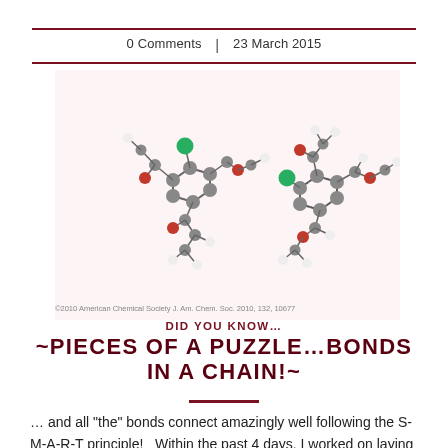0 Comments | 23 March 2015
[Figure (illustration): 3D molecular structure rendering showing two organometallic/organic molecules with grey carbon atoms, white hydrogen atoms, red oxygen atoms, and green chlorine atoms. Copyright 2010 American Chemical Society J. Am. Chem. Soc. 2010, 132, 10677]
©2010 American Chemical Society J. Am. Chem. Soc. 2010, 132, 10677
DID YOU KNOW… ~PIECES OF A PUZZLE…BONDS IN A CHAIN!~
… and all "the" bonds connect amazingly well following the S-M-A-R-T principle!   Within the past 4 days, I worked on laying out the new steps in all my projects.